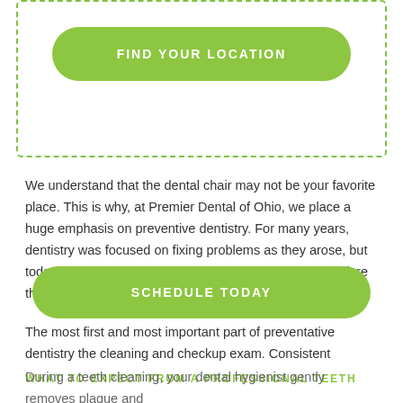[Figure (other): Green dashed border box containing a green rounded button labeled FIND YOUR LOCATION]
We understand that the dental chair may not be your favorite place. This is why, at Premier Dental of Ohio, we place a huge emphasis on preventive dentistry. For many years, dentistry was focused on fixing problems as they arose, but today, our emphasis is often on preventing problems before they occur.
The most first and most important part of preventative dentistry the cleaning and checkup exam. Consistent cleanings and visits with the doctor allows an assessment of the stability and condition of your mouth and allows your dentist the ability to recommend treatments or home care techniques that may prevent more serious or costly problems.
WHAT TO EXPECT FROM A PROFESSIONAL TEETH
[Figure (other): Green rounded button labeled SCHEDULE TODAY]
During a teeth cleaning, your dental hygienist gently removes plaque and